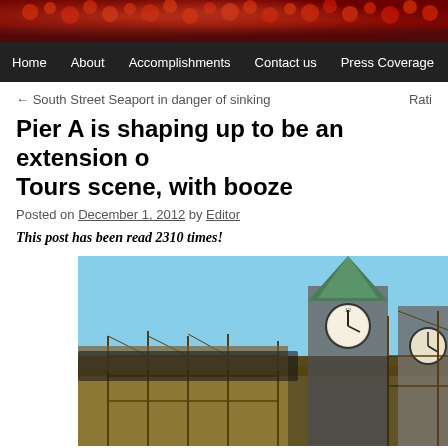[Figure (photo): Website header with red floral/berry background image]
Home | About | Accomplishments | Contact us | Press Coverage
← South Street Seaport in danger of sinking
Pier A is shaping up to be an extension of the Bar Tours scene, with booze
Posted on December 1, 2012 by Editor
This post has been read 2310 times!
[Figure (photo): Construction photo of Pier A building with green copper clock tower and scaffolding against blue sky]